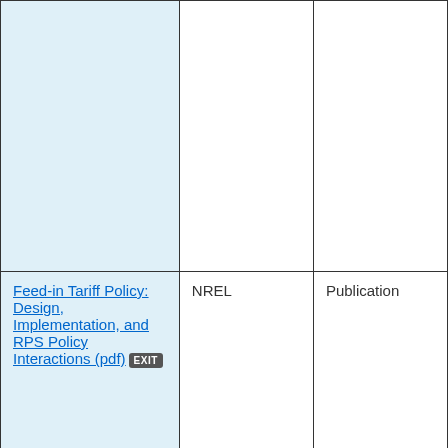|  |  |  |
| Feed-in Tariff Policy: Design, Implementation, and RPS Policy Interactions (pdf) [EXIT] | NREL | Publication |